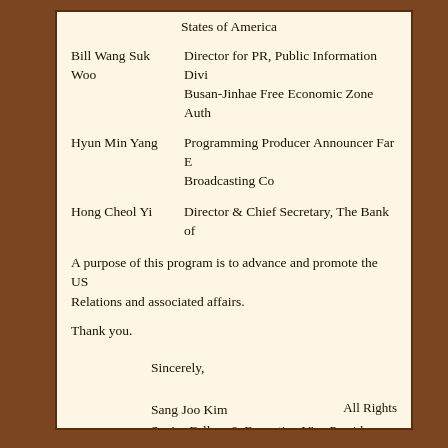States of America
Bill Wang Suk Woo — Director for PR, Public Information Division, Busan-Jinhae Free Economic Zone Authority
Hyun Min Yang — Programming Producer Announcer Far East Broadcasting Co
Hong Cheol Yi — Director & Chief Secretary, The Bank of
A purpose of this program is to advance and promote the US-Korea Relations and associated affairs.
Thank you.
Sincerely,

Sang Joo Kim
Senior Fellow & Executive Vice President
ICAS
All Rights